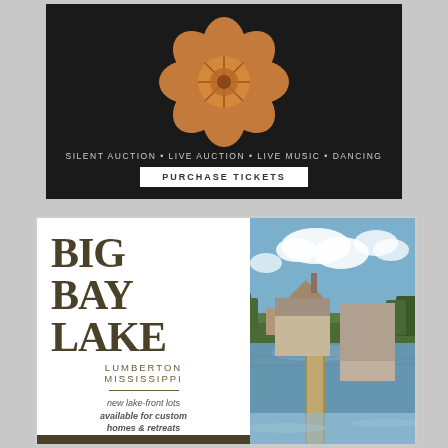[Figure (illustration): Event advertisement on black background with decorative orange floral/geometric logo. Text reads: SILENT AUCTION • LIVE AUCTION • LIVE MUSIC • DANCING with a PURCHASE TICKETS button.]
[Figure (illustration): Big Bay Lake real estate advertisement. Left panel shows 'BIG BAY LAKE' in large serif text, 'LUMBERTON MISSISSIPPI', 'new lake-front lots available for custom homes & retreats', 'BIGBAYLAKE.COM', '1.877.4.BIGBAY'. Right panel shows a photo of a lake with a barn/house structure reflected in the water and a wooden dock.]